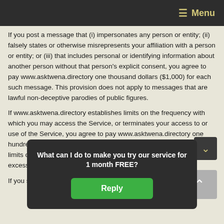Menu
If you post a message that (i) impersonates any person or entity; (ii) falsely states or otherwise misrepresents your affiliation with a person or entity; or (iii) that includes personal or identifying information about another person without that person's explicit consent, you agree to pay www.asktwena.directory one thousand dollars ($1,000) for each such message. This provision does not apply to messages that are lawful non-deceptive parodies of public figures.
If www.asktwena.directory establishes limits on the frequency with which you may access the Service, or terminates your access to or use of the Service, you agree to pay www.asktwena.directory one hundred dollars ($100) for each message posted in excess of such limits or for each day on which you access www.asktwena.directory in excess of such limits, whichever is higher.
If you ser... www.ask... www.ask... to pay www.ask... ch such email.
[Figure (other): Popup modal with text 'What can I do to make you try our service for 1 month FREE?' and a green Reply button]